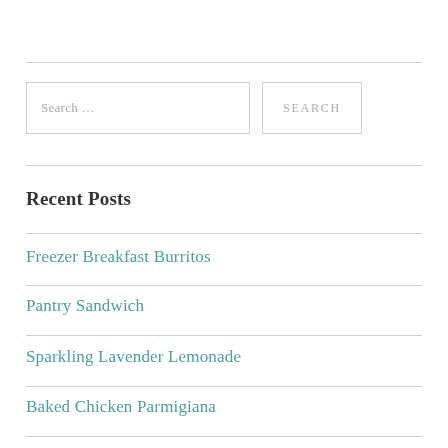Search …
Freezer Breakfast Burritos
Recent Posts
Freezer Breakfast Burritos
Pantry Sandwich
Sparkling Lavender Lemonade
Baked Chicken Parmigiana